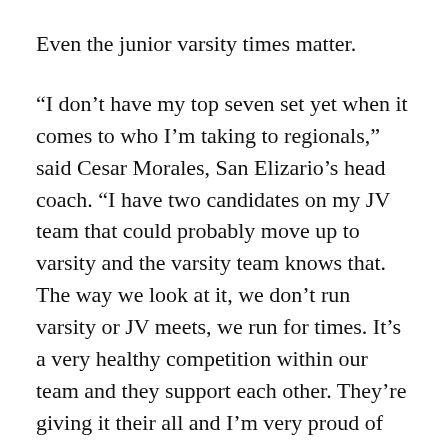Even the junior varsity times matter.
“I don’t have my top seven set yet when it comes to who I’m taking to regionals,” said Cesar Morales, San Elizario’s head coach. “I have two candidates on my JV team that could probably move up to varsity and the varsity team knows that. The way we look at it, we don’t run varsity or JV meets, we run for times. It’s a very healthy competition within our team and they support each other. They’re giving it their all and I’m very proud of that.”
The District 3-4A Championship is Oct. 12 at the Chamizal National Memorial Park, followed by the Region 4A Meet Oct. 22 at Mac Simmons